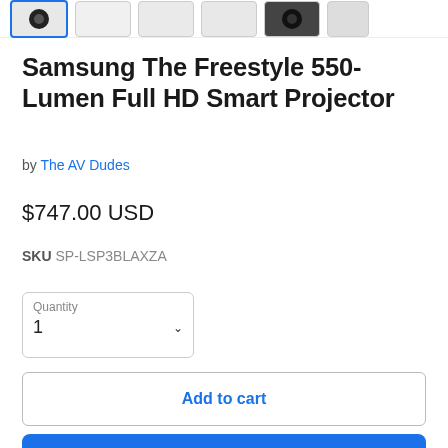[Figure (screenshot): Thumbnail strip showing product images for the Samsung The Freestyle projector. First thumbnail is selected (blue border), followed by several unselected thumbnails.]
Samsung The Freestyle 550-Lumen Full HD Smart Projector
by The AV Dudes
$747.00 USD
SKU SP-LSP3BLAXZA
Quantity 1
Add to cart
Buy it now